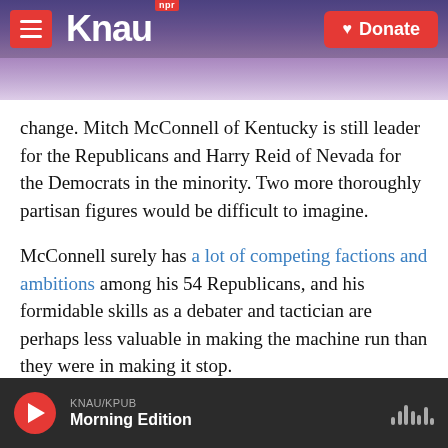[Figure (screenshot): KNAU NPR radio station website header with logo, hamburger menu button, mountain landscape background, and red Donate button]
change. Mitch McConnell of Kentucky is still leader for the Republicans and Harry Reid of Nevada for the Democrats in the minority. Two more thoroughly partisan figures would be difficult to imagine.
McConnell surely has a lot of competing factions and ambitions among his 54 Republicans, and his formidable skills as a debater and tactician are perhaps less valuable in making the machine run than they were in making it stop.
Still, some of the tension of recent years may be
KNAU/KPUB  Morning Edition